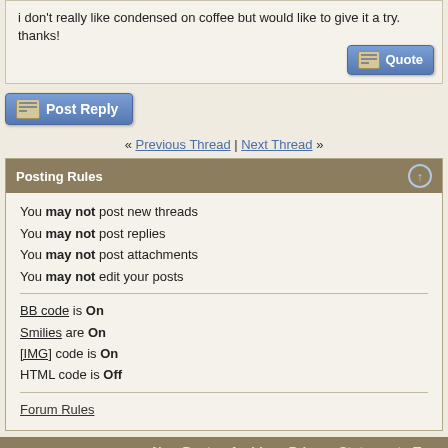i don't really like condensed on coffee but would like to give it a try. thanks!
[Figure (screenshot): Quote button with icon]
[Figure (screenshot): Post Reply button with icon]
« Previous Thread | Next Thread »
Posting Rules
You may not post new threads
You may not post replies
You may not post attachments
You may not edit your posts
BB code is On
Smilies are On
[IMG] code is On
HTML code is Off
Forum Rules
New Posts - Archive - Privacy Statement - Top
FORUM TERMS OF USE
All Bulletin Board Posts are for personal/non-commercial use only.
FORUM DETAILS
Powered by vBulletin® Version 3.8 Copyright ©2000 - 2022, vBulletin Solutions, Inc.